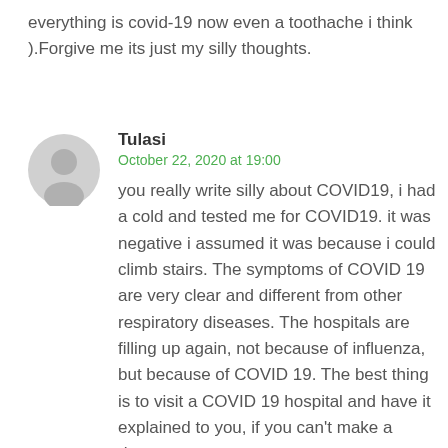everything is covid-19 now even a toothache i think ).Forgive me its just my silly thoughts.
Tulasi
October 22, 2020 at 19:00
you really write silly about COVID19, i had a cold and tested me for COVID19. it was negative i assumed it was because i could climb stairs. The symptoms of COVID 19 are very clear and different from other respiratory diseases. The hospitals are filling up again, not because of influenza, but because of COVID 19. The best thing is to visit a COVID 19 hospital and have it explained to you, if you can't make a rhyme out